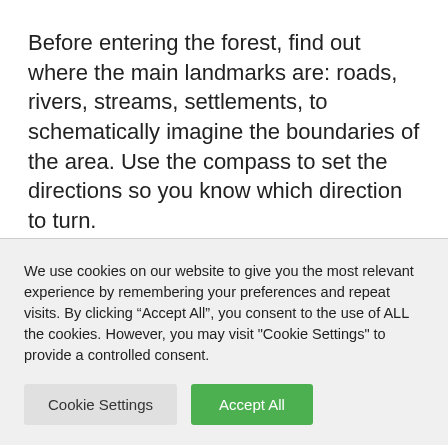Before entering the forest, find out where the main landmarks are: roads, rivers, streams, settlements, to schematically imagine the boundaries of the area. Use the compass to set the directions so you know which direction to turn.
We use cookies on our website to give you the most relevant experience by remembering your preferences and repeat visits. By clicking “Accept All”, you consent to the use of ALL the cookies. However, you may visit "Cookie Settings" to provide a controlled consent.